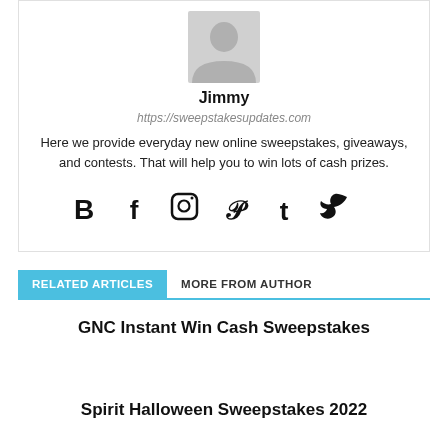[Figure (illustration): Gray silhouette avatar placeholder image for user 'Jimmy']
Jimmy
https://sweepstakesupdates.com
Here we provide everyday new online sweepstakes, giveaways, and contests. That will help you to win lots of cash prizes.
[Figure (other): Social media icons: Blogger, Facebook, Instagram, Pinterest, Tumblr, Twitter]
RELATED ARTICLES   MORE FROM AUTHOR
GNC Instant Win Cash Sweepstakes
Spirit Halloween Sweepstakes 2022